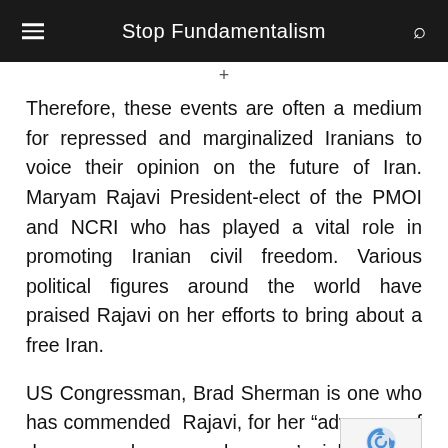Stop Fundamentalism
Therefore, these events are often a medium for repressed and marginalized Iranians to voice their opinion on the future of Iran. Maryam Rajavi President-elect of the PMOI and NCRI who has played a vital role in promoting Iranian civil freedom. Various political figures around the world have praised Rajavi on her efforts to bring about a free Iran.
US Congressman, Brad Sherman is one who has commended Rajavi, for her “advocacy of democracy, human and women’s rights in I
Maryam Rajavi has also been a key figure in